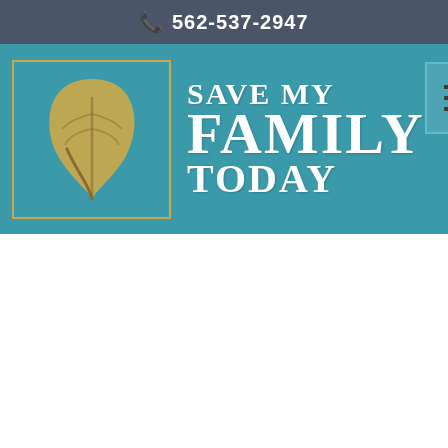562-537-2947
[Figure (logo): Save My Family Today logo with a golden leaf inside a square border on a teal background, with the text SAVE MY FAMILY TODAY]
[Figure (other): Hamburger menu icon (three horizontal lines) in a square border on teal background]